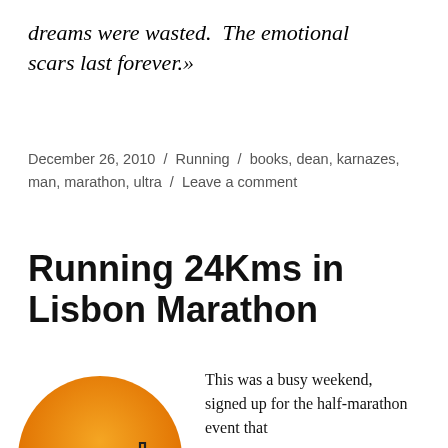dreams were wasted.  The emotional scars last forever.»
December 26, 2010  /  Running  /  books, dean, karnazes, man, marathon, ultra  /  Leave a comment
Running 24Kms in Lisbon Marathon
[Figure (illustration): Circular orange gradient logo showing a runner silhouette in front of a castle/city skyline outline, Lisbon Marathon logo]
This was a busy weekend, signed up for the half-marathon event that